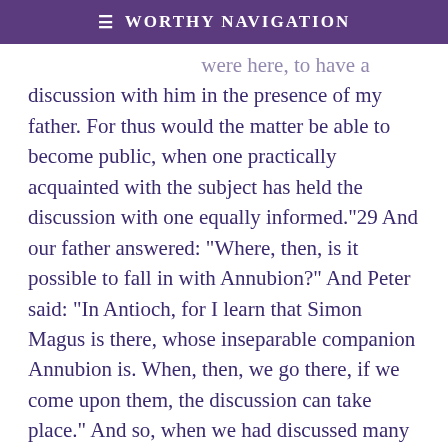≡ Worthy Navigation
discussion with him in the presence of my father. For thus would the matter be able to become public, when one practically acquainted with the subject has held the discussion with one equally informed.”29 And our father answered: “Where, then, is it possible to fall in with Annubion?” And Peter said: “In Antioch, for I learn that Simon Magus is there, whose inseparable companion Annubion is. When, then, we go there, if we come upon them, the discussion can take place.” And so, when we had discussed many subjects, and rejoiced at the recognition and given thanks to God, evening came down upon us, and we turned to sleep.